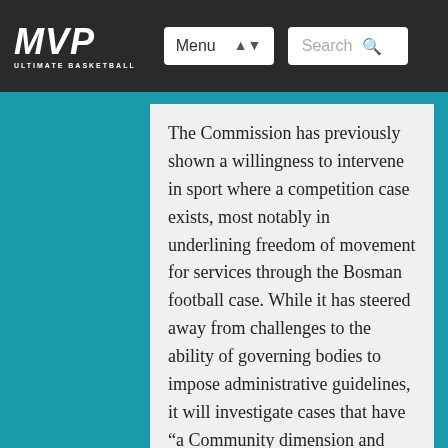MVP Ultimate Basketball — Menu / Search navigation bar
The Commission has previously shown a willingness to intervene in sport where a competition case exists, most notably in underlining freedom of movement for services through the Bosman football case. While it has steered away from challenges to the ability of governing bodies to impose administrative guidelines, it will investigate cases that have “a Community dimension and significantly affect trade between Member States.”